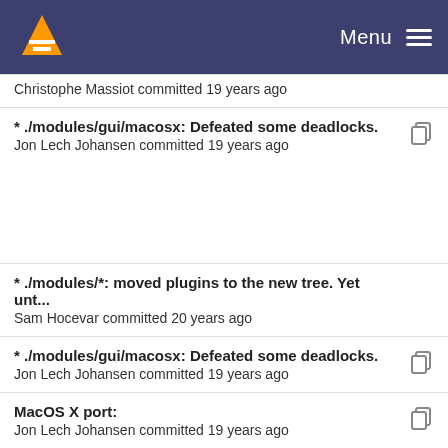VLC Menu
Christophe Massiot committed 19 years ago
* ./modules/gui/macosx: Defeated some deadlocks. — Jon Lech Johansen committed 19 years ago
* ./modules/*: moved plugins to the new tree. Yet unt... — Sam Hocevar committed 20 years ago
* ./modules/gui/macosx: Defeated some deadlocks. — Jon Lech Johansen committed 19 years ago
MacOS X port: — Jon Lech Johansen committed 19 years ago
* ./modules/gui/macosx: Defeated some deadlocks. — Jon Lech Johansen committed 19 years ago
* aout_Volume* functions now do their own vlc_ob... — (truncated)